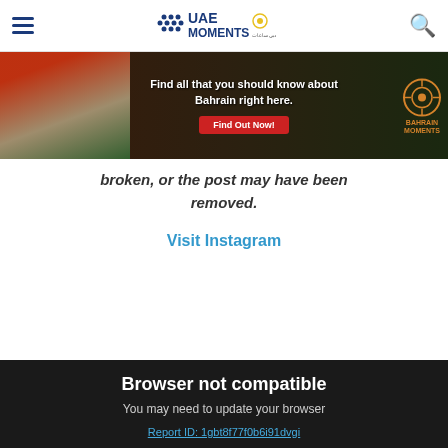UAE Moments [logo] [hamburger menu] [search icon]
[Figure (screenshot): Bahrain Moments banner ad: 'Find all that you should know about Bahrain right here. Find Out Now!']
broken, or the post may have been removed.
Visit Instagram
Browser not compatible
You may need to update your browser
Report ID: 1gbt8f77f0b6i91dvgi